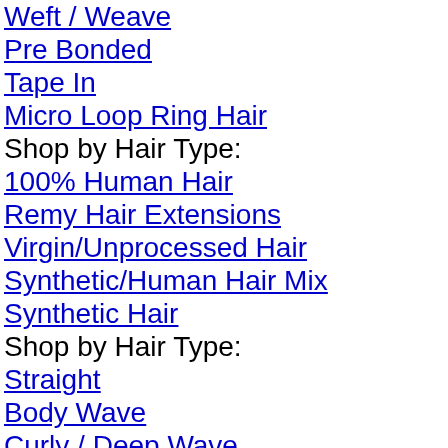Weft / Weave
Pre Bonded
Tape In
Micro Loop Ring Hair
Shop by Hair Type:
100% Human Hair
Remy Hair Extensions
Virgin/Unprocessed Hair
Synthetic/Human Hair Mix
Synthetic Hair
Shop by Hair Type:
Straight
Body Wave
Curly / Deep Wave
More:
Jumbo Braided
Tools & Accessories
Hair Extensions Care
Virgin Hair
Shop by Product/Texture:
Hair Weave
Frontal & Closure
Bundle Deals
Straight
Body Wave
Loose Wave